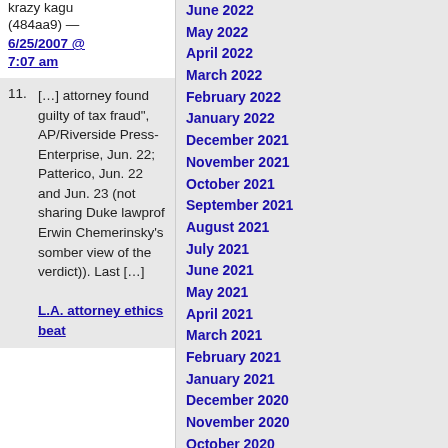krazy kagu (484aa9) — 6/25/2007 @ 7:07 am
[…] attorney found guilty of tax fraud", AP/Riverside Press-Enterprise, Jun. 22; Patterico, Jun. 22 and Jun. 23 (not sharing Duke lawprof Erwin Chemerinsky's somber view of the verdict)). Last […]
L.A. attorney ethics beat
June 2022
May 2022
April 2022
March 2022
February 2022
January 2022
December 2021
November 2021
October 2021
September 2021
August 2021
July 2021
June 2021
May 2021
April 2021
March 2021
February 2021
January 2021
December 2020
November 2020
October 2020
September 2020
August 2020
July 2020
June 2020
May 2020
April 2020
March 2020
February 2020
January 2020
December 2019
November 2019
October 2019